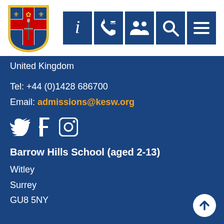[Figure (logo): School crest/shield logo: blue and white shield with red cross, gold fleur-de-lis symbols, and a sword]
[Figure (screenshot): Navigation icon bar with 5 dark blue square buttons containing icons: info (i), phone/contact, people/community, search, and menu (hamburger)]
United Kingdom
Tel: +44 (0)1428 686700
Email: admissions@kesw.org
[Figure (infographic): Social media icons for Twitter (bird), Facebook (F), and Instagram (camera)]
Barrow Hills School (aged 2-13)
Witley
Surrey
GU8 5NY